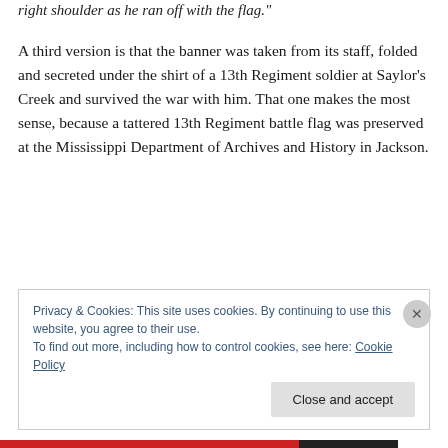right shoulder as he ran off with the flag.
A third version is that the banner was taken from its staff, folded and secreted under the shirt of a 13th Regiment soldier at Saylor's Creek and survived the war with him. That one makes the most sense, because a tattered 13th Regiment battle flag was preserved at the Mississippi Department of Archives and History in Jackson.
Privacy & Cookies: This site uses cookies. By continuing to use this website, you agree to their use.
To find out more, including how to control cookies, see here: Cookie Policy